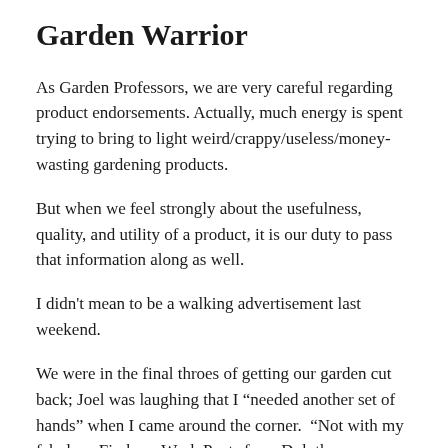Garden Warrior
As Garden Professors, we are very careful regarding product endorsements. Actually, much energy is spent trying to bring to light weird/crappy/useless/money-wasting gardening products.
But when we feel strongly about the usefulness, quality, and utility of a product, it is our duty to pass that information along as well.
I didn't mean to be a walking advertisement last weekend.
We were in the final throes of getting our garden cut back; Joel was laughing that I “needed another set of hands” when I came around the corner.  “Not with my fabulous Firehose Work Pants from Duluth